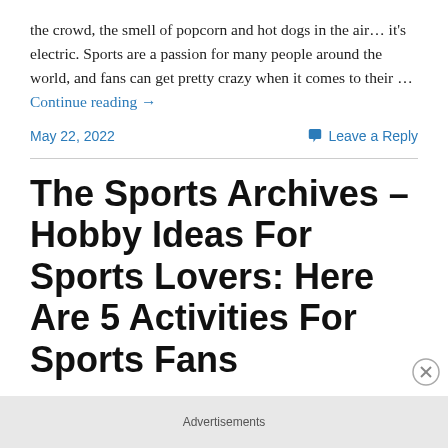the crowd, the smell of popcorn and hot dogs in the air… it's electric. Sports are a passion for many people around the world, and fans can get pretty crazy when it comes to their … Continue reading →
May 22, 2022
Leave a Reply
The Sports Archives – Hobby Ideas For Sports Lovers: Here Are 5 Activities For Sports Fans
Sports fans are always looking for new ways to enjoy thei
Advertisements